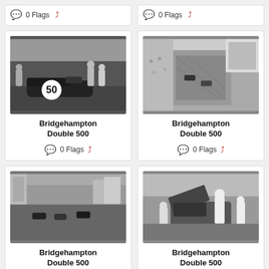[Figure (photo): Partial top-left card showing 0 Flags meta row]
[Figure (photo): Partial top-right card showing 0 Flags meta row]
[Figure (photo): Black and white photo of race car number 50 at Bridgehampton with pit crew]
Bridgehampton Double 500
0 Flags
[Figure (photo): Black and white aerial/elevated photo of Bridgehampton race track]
Bridgehampton Double 500
0 Flags
[Figure (photo): Black and white photo of multiple race cars on track at Bridgehampton]
Bridgehampton Double 500
[Figure (photo): Black and white photo of race car with hood open and mechanic working on it at Bridgehampton]
Bridgehampton Double 500